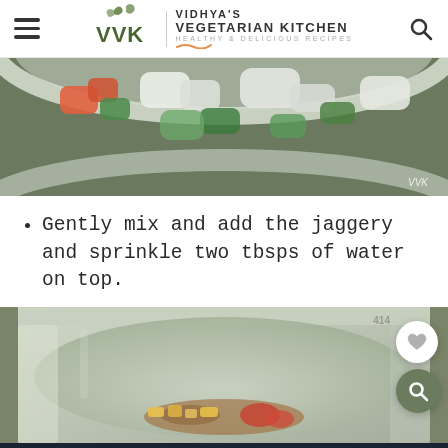VVK | VIDHYA'S VEGETARIAN KITCHEN HEALTHY & DELICIOUS RECIPES
[Figure (photo): Close-up photo of chopped vegetables (tomatoes, cucumber, onion, coriander) in a steel bowl, with 'VVK' watermark in bottom right corner.]
Gently mix and add the jaggery and sprinkle two tbsps of water on top.
[Figure (photo): Steel cooking pot with jaggery/corn ingredients at the bottom, with a heart save button (white circle) and a search button (olive green circle) on the right side. Number '414' shown near top right.]
SHE CAN STEM